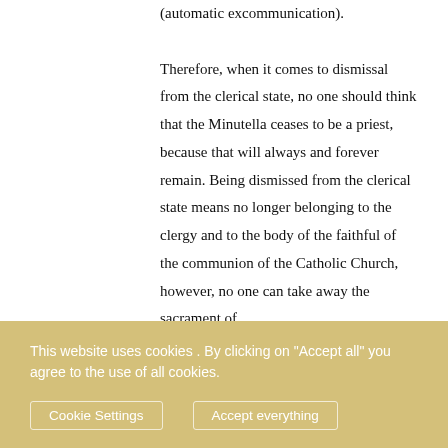(automatic excommunication). Therefore, when it comes to dismissal from the clerical state, no one should think that the Minutella ceases to be a priest, because that will always and forever remain. Being dismissed from the clerical state means no longer belonging to the clergy and to the body of the faithful of the communion of the Catholic Church, however, no one can take away the sacrament of
This website uses cookies . By clicking on "Accept all" you agree to the use of all cookies.
Cookie Settings   Accept everything